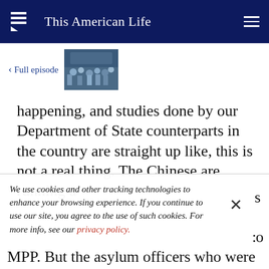This American Life
< Full episode
[Figure (photo): Thumbnail image of a crowded scene for the full episode]
happening, and studies done by our Department of State counterparts in the country are straight up like, this is not a real thing. The Chinese are running a
We use cookies and other tracking technologies to enhance your browsing experience. If you continue to use our site, you agree to the use of such cookies. For more info, see our privacy policy.
MPP. But the asylum officers who were going to